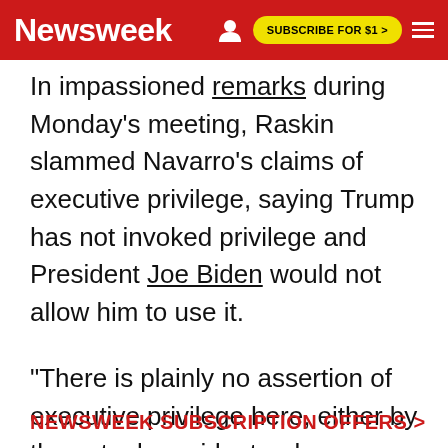Newsweek | SUBSCRIBE FOR $1 >
In impassioned remarks during Monday's meeting, Raskin slammed Navarro's claims of executive privilege, saying Trump has not invoked privilege and President Joe Biden would not allow him to use it.
"There is plainly no assertion of executive privilege here, either by the actual president or by any former president," the Maryland Democrat said.
NEWSWEEK SUBSCRIPTION OFFERS >